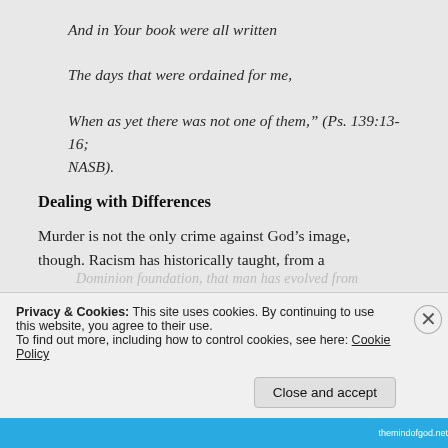And in Your book were all written
The days that were ordained for me,
When as yet there was not one of them," (Ps. 139:13-16; NASB).
Dealing with Differences
Murder is not the only crime against God’s image, though. Racism has historically taught, from a Dominion foundation, that man has evolved from
Privacy & Cookies: This site uses cookies. By continuing to use this website, you agree to their use.
To find out more, including how to control cookies, see here: Cookie Policy
Close and accept